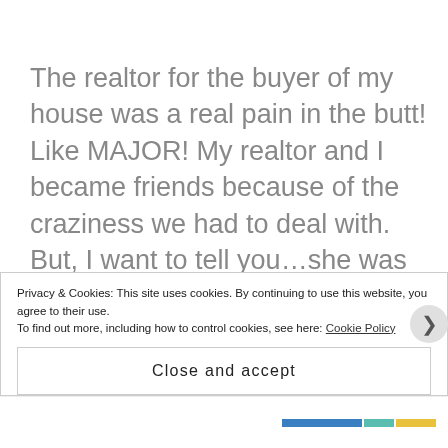The realtor for the buyer of my house was a real pain in the butt!  Like MAJOR!  My realtor and I became friends because of the craziness we had to deal with.  But, I want to tell you…she was the BEST!  She helped me so much.  She staged the house for me.  She advised me on so many things.  So, because I had to scramble and do so many additional things demanded by the buyer (install a second sump pump in the crawl space, take down three big oak trees…big stuff), I didn't get to keep up…
Privacy & Cookies: This site uses cookies. By continuing to use this website, you agree to their use.
To find out more, including how to control cookies, see here: Cookie Policy
Close and accept